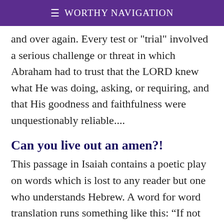≡ Worthy Navigation
and over again. Every test or "trial" involved a serious challenge or threat in which Abraham had to trust that the LORD knew what He was doing, asking, or requiring, and that His goodness and faithfulness were unquestionably reliable....
Can you live out an amen?!
This passage in Isaiah contains a poetic play on words which is lost to any reader but one who understands Hebrew. A word for word translation runs something like this: “If not you will believe (lo ta-aminoo), surely not you will be established (lo te-amenoo).” The three letter Hebrew root – "aleph"– "mem"– "nun", is the same in both